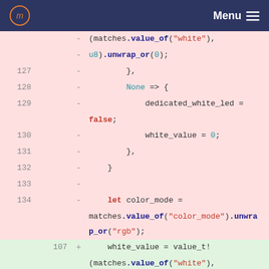Navigation bar with logo and Menu
[Figure (screenshot): Code diff view showing Rust source code changes. Removed lines (pink background) show lines 127-134 with code for matching white value and color_mode. Added lines (green background) show line 107 with white_value assignment. Neutral lines 135-137/108-110 show match occurrences_of code.]